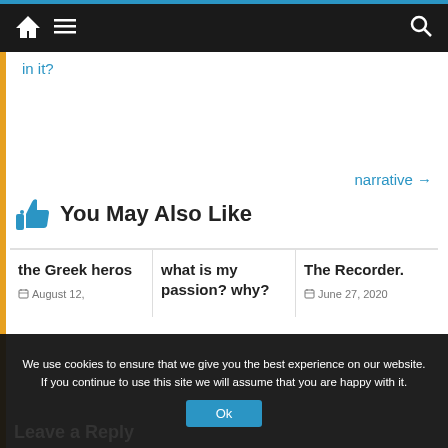Navigation bar with home, menu, and search icons
in it?
narrative →
👍 You May Also Like
the Greek heros
August 12,
what is my passion? why?
The Recorder.
June 27, 2020
We use cookies to ensure that we give you the best experience on our website. If you continue to use this site we will assume that you are happy with it.
Ok
Leave a Reply